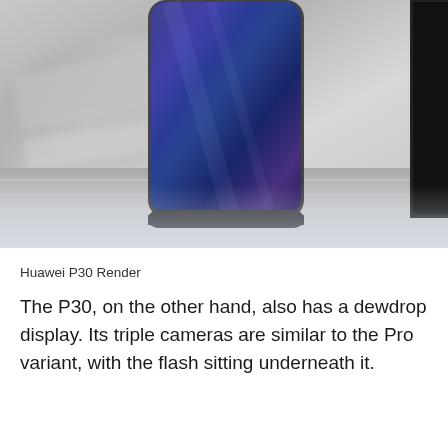[Figure (photo): Render of Huawei P30 smartphone showing the front screen with deep blue/purple display, partial view of a second phone on the right side, placed on a reflective metallic surface with blurred background]
Huawei P30 Render
The P30, on the other hand, also has a dewdrop display. Its triple cameras are similar to the Pro variant, with the flash sitting underneath it.